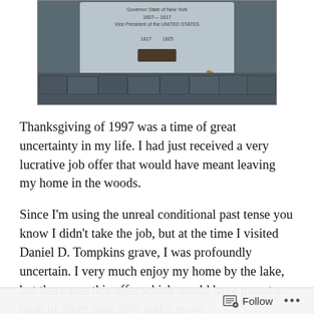[Figure (photo): Photograph of a flat grave marker or memorial stone set into cobblestone pavement. The stone reads 'Governor State of New York 1807 – 1817, Vice President of the UNITED STATES, 1817 – 1825'. There is a small dark plaque or book on top of the stone. Fallen leaves are scattered around.]
Thanksgiving of 1997 was a time of great uncertainty in my life. I had just received a very lucrative job offer that would have meant leaving my home in the woods.
Since I'm using the unreal conditional past tense you know I didn't take the job, but at the time I visited Daniel D. Tompkins grave, I was profoundly uncertain. I very much enjoy my home by the lake, but there was this offer which would have meant a raise of more than 20% and a move
Follow ···